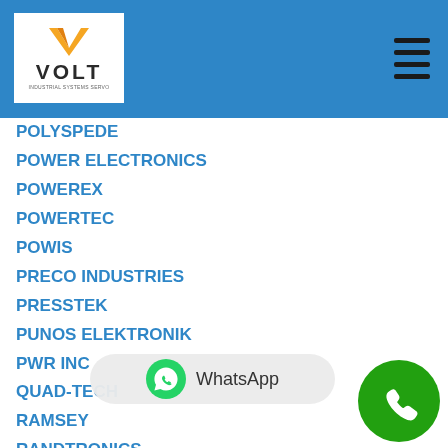[Figure (logo): VOLT Industrial Systems logo — white V chevron above bold VOLT text on white background, inside blue header bar]
POLYSPEDE
POWER ELECTRONICS
POWEREX
POWERTEC
POWIS
PRECO INDUSTRIES
PRESSTEK
PUNOS ELEKTRONIK
PWR INC
QUAD-TECH
RAMSEY
RANDTRONICS
RAPID POWER
RAPISTAN
RAYMOND
RAYTRON
RE ELETTRONICA
RECYCLENE PRODUCTS
REEL
REFLEX
[Figure (other): WhatsApp button overlay with WhatsApp icon and text 'WhatsApp']
[Figure (other): Green circle phone icon button in bottom right corner]